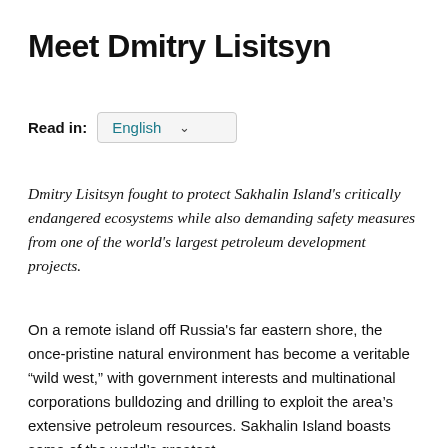Meet Dmitry Lisitsyn
Read in: English
Dmitry Lisitsyn fought to protect Sakhalin Island's critically endangered ecosystems while also demanding safety measures from one of the world's largest petroleum development projects.
On a remote island off Russia's far eastern shore, the once-pristine natural environment has become a veritable “wild west,” with government interests and multinational corporations bulldozing and drilling to exploit the area’s extensive petroleum resources. Sakhalin Island boasts some of the world’s greatest